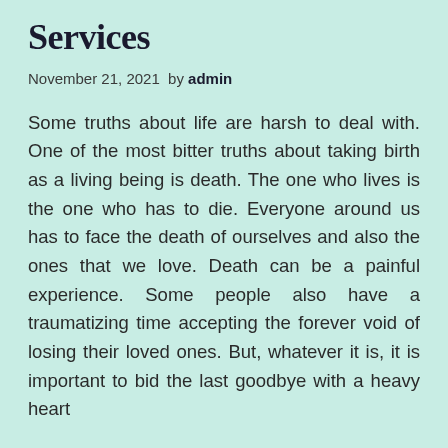Services
November 21, 2021 by admin
Some truths about life are harsh to deal with. One of the most bitter truths about taking birth as a living being is death. The one who lives is the one who has to die. Everyone around us has to face the death of ourselves and also the ones that we love. Death can be a painful experience. Some people also have a traumatizing time accepting the forever void of losing their loved ones. But, whatever it is, it is important to bid the last goodbye with a heavy heart